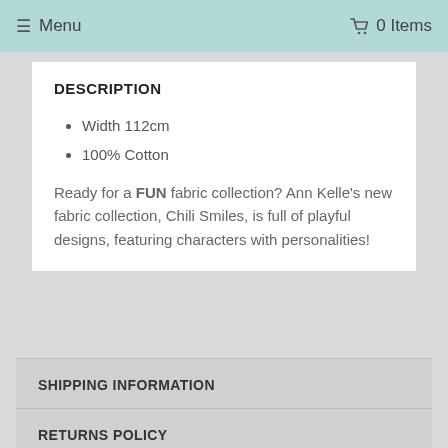☰ Menu   🛒 0 Items
DESCRIPTION
Width 112cm
100% Cotton
Ready for a FUN fabric collection? Ann Kelle's new fabric collection, Chili Smiles, is full of playful designs, featuring characters with personalities!
SHIPPING INFORMATION
RETURNS POLICY
REVIEWS